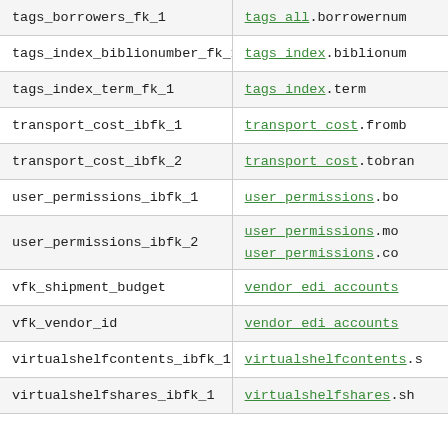| tags_borrowers_fk_1 | tags_all.borrowernum |
| tags_index_biblionumber_fk_1 | tags_index.biblionum |
| tags_index_term_fk_1 | tags_index.term |
| transport_cost_ibfk_1 | transport_cost.fromb |
| transport_cost_ibfk_2 | transport_cost.tobran |
| user_permissions_ibfk_1 | user_permissions.bo |
| user_permissions_ibfk_2 | user_permissions.mo
user_permissions.co |
| vfk_shipment_budget | vendor_edi_accounts |
| vfk_vendor_id | vendor_edi_accounts |
| virtualshelfcontents_ibfk_1 | virtualshelfcontents.s |
| virtualshelfshares_ibfk_1 | virtualshelfshares.sh |